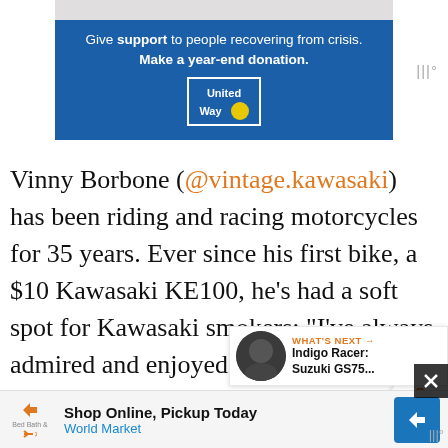[Figure (other): United Way donation advertisement banner with blue background, text 'Give support to people recovering from crisis. Make a year-end donation.' and United Way logo]
Vinny Borbone (@vintage.kawasaki) has been riding and racing motorcycles for 35 years. Ever since his first bike, a $10 Kawasaki KE100, he's had a soft spot for Kawasaki smokers: “I’ve always admired and enjoyed riding two-strokes for all the obvious reasons of light weight, simplicity, and power delivery. But added to that list recently is a sense of nostalgi… sounds and smells, which brings back so many
[Figure (other): What's Next widget showing 'Indigo Racer: Suzuki GS75...' article preview]
[Figure (other): Bottom advertisement bar: Shop Online, Pickup Today - World Market]